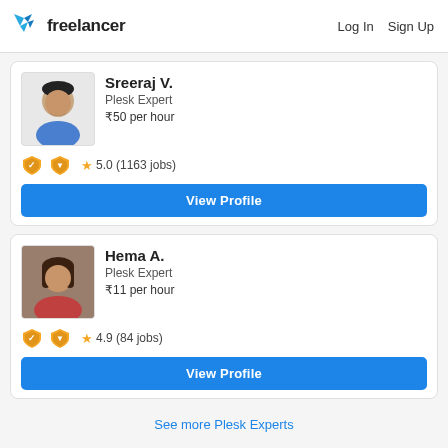Freelancer — Log In  Sign Up
Sreeraj V.
Plesk Expert
₹50 per hour
★ 5.0 (1163 jobs)
View Profile
Hema A.
Plesk Expert
₹11 per hour
★ 4.9 (84 jobs)
View Profile
See more Plesk Experts